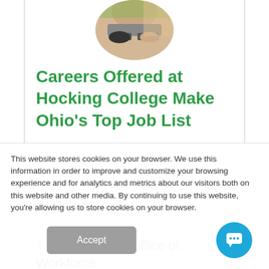[Figure (photo): Circular cropped profile photo showing a person's arms/hands working, partially visible at the top of the page]
Careers Offered at Hocking College Make Ohio's Top Job List
by Melinda Casilli
The Governor's Office of Workforce
This website stores cookies on your browser. We use this information in order to improve and customize your browsing experience and for analytics and metrics about our visitors both on this website and other media. By continuing to use this website, you're allowing us to store cookies on your browser.